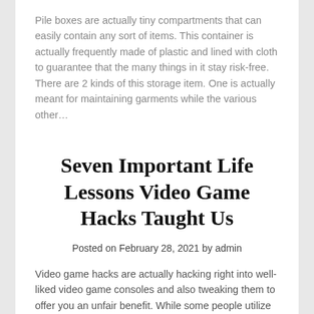Pile boxes are actually tiny compartments that can easily contain any sort of items. This container is actually frequently made of plastic and lined with cloth to guarantee that the many things in it stay risk-free. There are 2 kinds of this storage item. One is actually meant for maintaining garments while the various other…
Seven Important Life Lessons Video Game Hacks Taught Us
Posted on February 28, 2021 by admin
Video game hacks are actually hacking right into well-liked video game consoles and also tweaking them to offer you an unfair benefit. While some people utilize hacks to play online, others utilize hacks to receive their